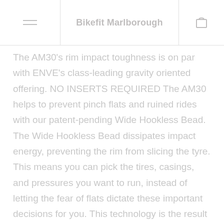Bikefit Marlborough
The AM30's rim impact toughness is on par with ENVE's class-leading gravity oriented offering. NO INSERTS REQUIRED The AM30 helps to prevent pinch flats and ruined rides with our patent-pending Wide Hookless Bead. The Wide Hookless Bead dissipates impact energy, preventing the rim from slicing the tyre. This means you can pick the tires, casings, and pressures you want to run, instead of letting the fear of flats dictate these important decisions for you. This technology is the result of more than two years' worth of carbon mountain bike rim development, which netted out at a rim shape that features the wider leading edge of the hookless bead's broad surface spreads the energy from an impact across